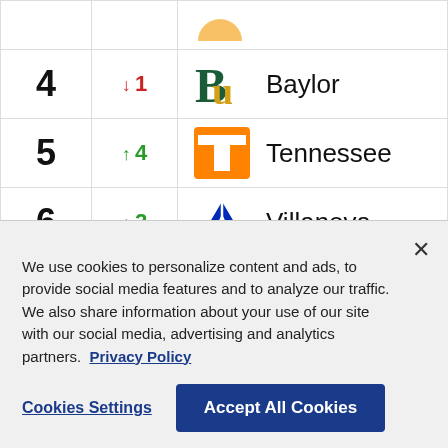| Rank | Change | Team |
| --- | --- | --- |
| 4 | ↓ 1 | Baylor |
| 5 | ↑ 4 | Tennessee |
| 6 | ↑ 2 | Villanova |
| 7 | ↓ 2 | Kentucky |
We use cookies to personalize content and ads, to provide social media features and to analyze our traffic. We also share information about your use of our site with our social media, advertising and analytics partners. Privacy Policy